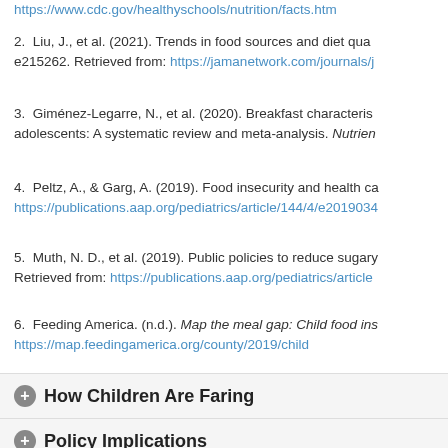https://www.cdc.gov/healthyschools/nutrition/facts.htm
2.  Liu, J., et al. (2021). Trends in food sources and diet qua... e215262. Retrieved from: https://jamanetwork.com/journals/j...
3.  Giménez-Legarre, N., et al. (2020). Breakfast characteris... adolescents: A systematic review and meta-analysis. Nutrien...
4.  Peltz, A., & Garg, A. (2019). Food insecurity and health ca... https://publications.aap.org/pediatrics/article/144/4/e2019034...
5.  Muth, N. D., et al. (2019). Public policies to reduce sugary... Retrieved from: https://publications.aap.org/pediatrics/article...
6.  Feeding America. (n.d.). Map the meal gap: Child food ins... https://map.feedingamerica.org/county/2019/child
How Children Are Faring
Policy Implications